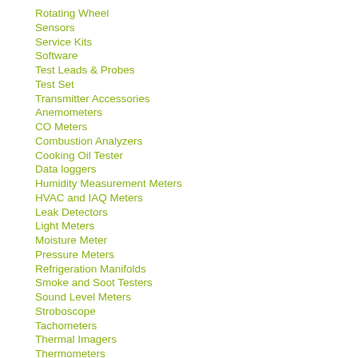Rotating Wheel
Sensors
Service Kits
Software
Test Leads & Probes
Test Set
Transmitter Accessories
Anemometers
CO Meters
Combustion Analyzers
Cooking Oil Tester
Data loggers
Humidity Measurement Meters
HVAC and IAQ Meters
Leak Detectors
Light Meters
Moisture Meter
Pressure Meters
Refrigeration Manifolds
Smoke and Soot Testers
Sound Level Meters
Stroboscope
Tachometers
Thermal Imagers
Thermometers